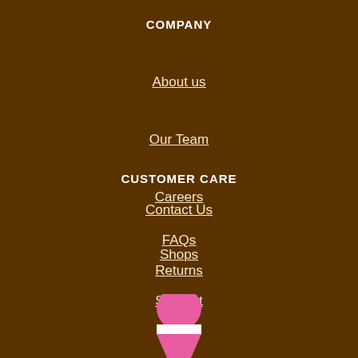COMPANY
About us
Our Team
Careers
Shops
CUSTOMER CARE
Contact Us
FAQs
Returns
Support
[Figure (illustration): Partial illustration of a pink badminton shuttlecock at the bottom of the page]